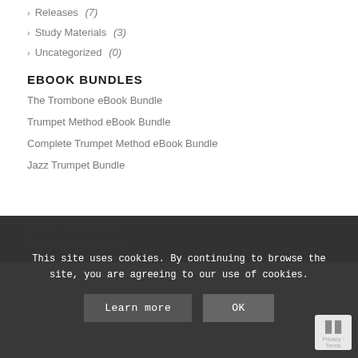Releases (7)
Study Materials (3)
Uncategorized (0)
EBOOK BUNDLES
The Trombone eBook Bundle
Trumpet Method eBook Bundle
Complete Trumpet Method eBook Bundle
Jazz Trumpet Bundle
PUBLICATIONS
Big Band Arrangements
Combo Arrangements & Play-Alongs
This site uses cookies. By continuing to browse the site, you are agreeing to our use of cookies.
Learn more
OK